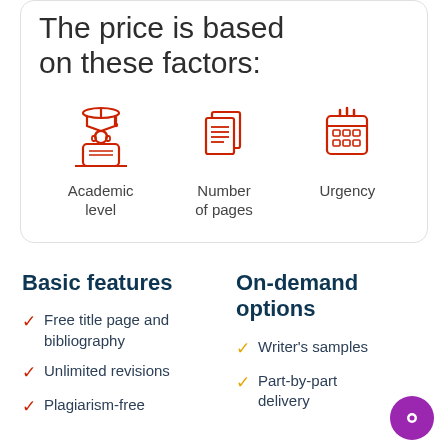The price is based on these factors:
[Figure (illustration): Three red icons: Academic level (student with graduation cap and laptop), Number of pages (stacked pages with text lines), Urgency (calendar)]
Academic level
Number of pages
Urgency
Basic features
On-demand options
Free title page and bibliography
Unlimited revisions
Plagiarism-free
Writer's samples
Part-by-part delivery